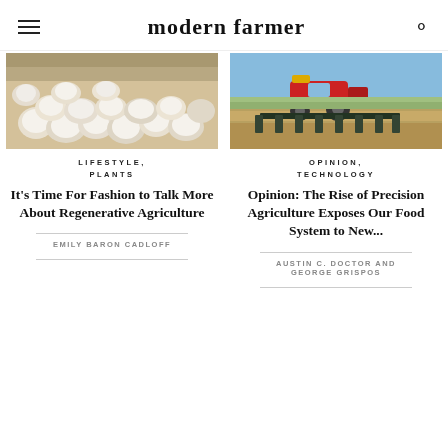modern farmer
[Figure (photo): Cotton field with white blooming cotton bolls]
LIFESTYLE, PLANTS
It's Time For Fashion to Talk More About Regenerative Agriculture
EMILY BARON CADLOFF
[Figure (photo): Red tractor with farming equipment working in a dry field]
OPINION, TECHNOLOGY
Opinion: The Rise of Precision Agriculture Exposes Our Food System to New...
AUSTIN C. DOCTOR AND GEORGE GRISPOS